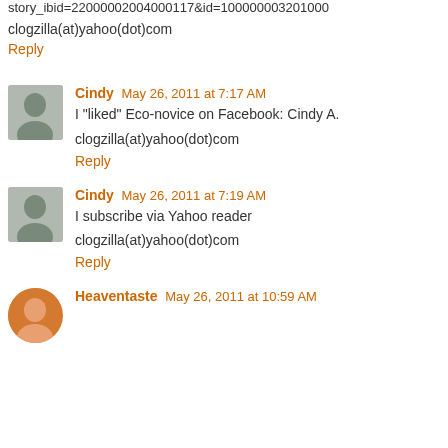story_ibid=22000002004000117&id=100000003201000
clogzilla(at)yahoo(dot)com
Reply
Cindy  May 26, 2011 at 7:17 AM
I "liked" Eco-novice on Facebook: Cindy A.
clogzilla(at)yahoo(dot)com
Reply
Cindy  May 26, 2011 at 7:19 AM
I subscribe via Yahoo reader
clogzilla(at)yahoo(dot)com
Reply
Heaventaste  May 26, 2011 at 10:59 AM